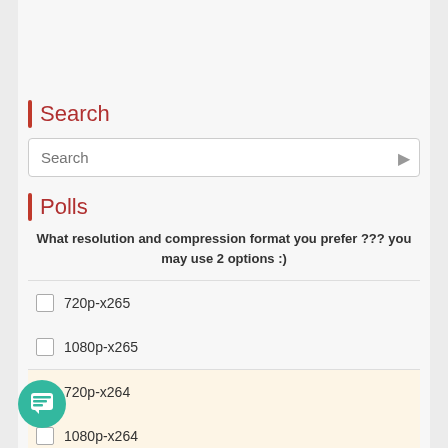Search
Search
Polls
What resolution and compression format you prefer ??? you may use 2 options :)
720p-x265
1080p-x265
720p-x264
1080p-x264
Vote
View Results